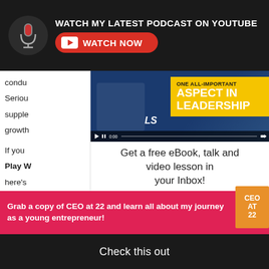WATCH MY LATEST PODCAST ON YOUTUBE
WATCH NOW
[Figure (screenshot): YouTube video thumbnail showing a man pointing at a yellow banner that reads 'ONE ALL-IMPORTANT ASPECT IN LEADERSHIP' with LS logo]
Get a free eBook, talk and video lesson in your Inbox!
First Name *
condu
Seriou
Supple
growth

If you
Play W
here's

1. W

    w
Grab a copy of CEO at 22 and learn all about my journey as a young entrepreneur!
Check this out